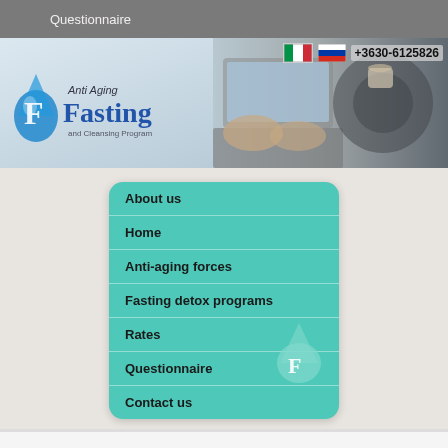Questionnaire
[Figure (screenshot): Anti Aging Fasting website header banner with logo on left and laptop/science imagery on right, with Italian and Russian flags and phone number +3630-6125826]
About us
Home
Anti-aging forces
Fasting detox programs
Rates
Questionnaire
Contact us
Health Questionnaire and Pre-Reservation Form
(without obligation to reserve right now by filling out this
PERSONAL DETAILS
* Denotes mandatory fields.